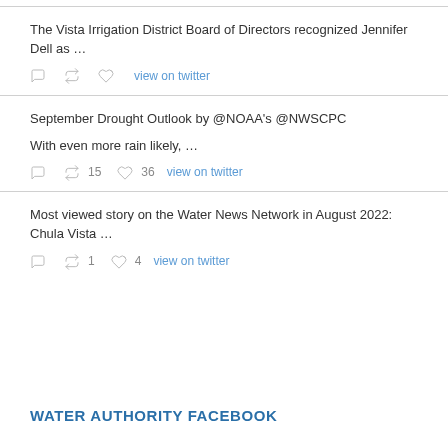The Vista Irrigation District Board of Directors recognized Jennifer Dell as …
view on twitter
September Drought Outlook by @NOAA's @NWSCPC

With even more rain likely, …
15  36  view on twitter
Most viewed story on the Water News Network in August 2022: Chula Vista …
1  4  view on twitter
WATER AUTHORITY FACEBOOK